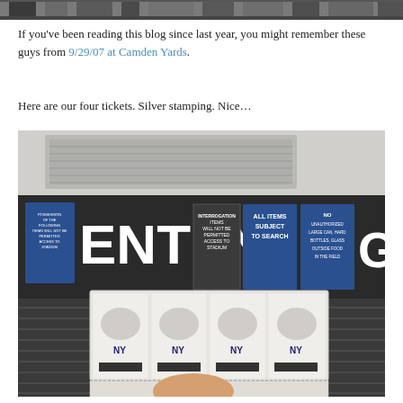[Figure (photo): Partial top edge of a photo showing people at what appears to be a baseball stadium crowd, cropped to a thin strip.]
If you've been reading this blog since last year, you might remember these guys from 9/29/07 at Camden Yards.
Here are our four tickets. Silver stamping. Nice…
[Figure (photo): Photo of a person's hand holding four New York Yankees tickets in front of a stadium entry gate sign reading 'ENTRY GATE 6' with signs saying 'ALL ITEMS SUBJECT TO SEARCH'.]